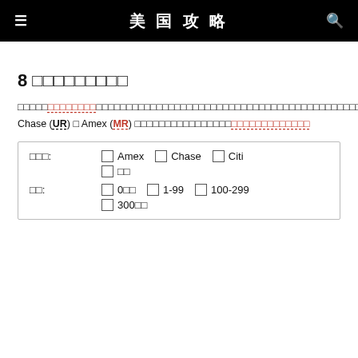美国攻略
8 □□□□□□□□□
□□□□□□□□□□□□□□□□□□□□□□□□□□□□□□□□□□□□□□□□□□□□□□□□□□□□□□□□□□□□□□□□□□□□□□□□□□□□□□□□□□□□□ Chase (UR) □ Amex (MR) □□□□□□□□□□□□□□□□□□□□□□□
| □□□: |  |
| --- | --- |
|  | □ Amex  □ Chase  □ Citi |
|  | □ □□ |
| □□: | □ 0□□  □ 1-99  □ 100-299 |
|  | □ 300□□ |